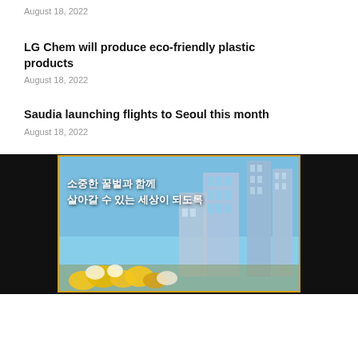August 18, 2022
LG Chem will produce eco-friendly plastic products
August 18, 2022
Saudia launching flights to Seoul this month
August 18, 2022
[Figure (photo): Korean city scene with buildings and yellow flowers, Korean text overlay reading: 소중한 꿀벌과 함께 살아갈 수 있는 세상이 되도록, framed with a gold border on a black background]